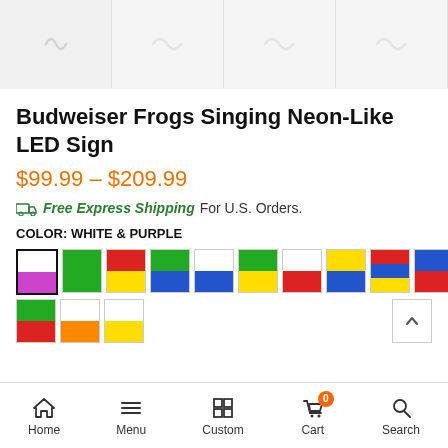[Figure (photo): Product image strip showing 4 thumbnail placeholders for Budweiser Frogs Singing Neon-Like LED Sign]
Budweiser Frogs Singing Neon-Like LED Sign
$99.99 – $209.99
Free Express Shipping For U.S. Orders.
COLOR: WHITE & PURPLE
[Figure (other): Color swatch selector showing 13 color options for the LED sign, with white & purple selected (first swatch, bold border). Colors include various combinations of white/purple, green, red/yellow, green/blue, blue, green/yellow, red, yellow/blue, red/blue/yellow, blue/red, green/red, white/orange, white/yellow.]
Home  Menu  Custom  Cart (0)  Search